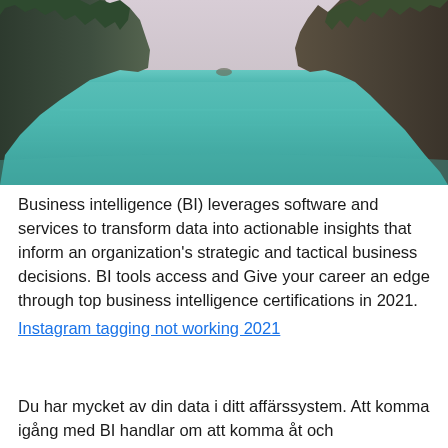[Figure (photo): Seascape photo showing turquoise tropical water with two large rocky cliffs/karst formations on left and right edges, under a pale hazy sky.]
Business intelligence (BI) leverages software and services to transform data into actionable insights that inform an organization's strategic and tactical business decisions. BI tools access and Give your career an edge through top business intelligence certifications in 2021.
Instagram tagging not working 2021
Du har mycket av din data i ditt affärssystem. Att komma igång med BI handlar om att komma åt och